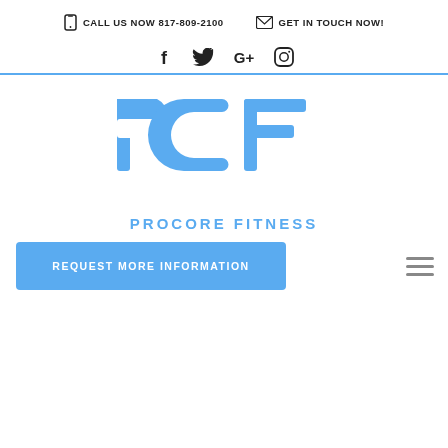CALL US NOW 817-809-2100   GET IN TOUCH NOW!
[Figure (logo): Social media icons bar: Facebook, Twitter, Google+, Instagram]
[Figure (logo): PCF Procore Fitness logo - blue stylized letters PCF above text PROCORE FITNESS]
REQUEST MORE INFORMATION